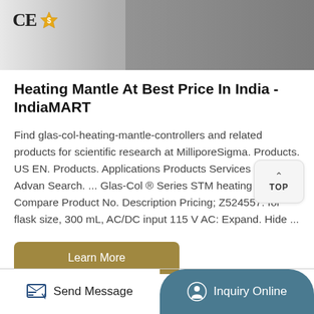[Figure (photo): Top portion of a product image showing CE mark and gold star badge on a grey surface]
Heating Mantle At Best Price In India - IndiaMART
Find glas-col-heating-mantle-controllers and related products for scientific research at MilliporeSigma. Products. US EN. Products. Applications Products Services Support. Advanced Search. ... Glas-Col ® Series STM heating mantle. Compare Product No. Description Pricing; Z524557: for flask size, 300 mL, AC/DC input 115 V AC: Expand. Hide ...
[Figure (other): TOP scroll-to-top button with upward chevron arrow]
Learn More
Send Message   Inquiry Online